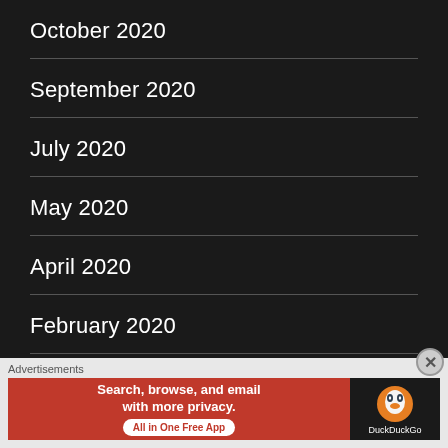October 2020
September 2020
July 2020
May 2020
April 2020
February 2020
September 2019
[Figure (screenshot): DuckDuckGo advertisement banner: 'Search, browse, and email with more privacy. All in One Free App' with DuckDuckGo logo on dark background.]